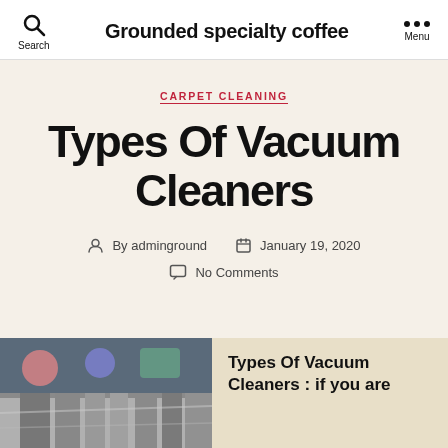Grounded specialty coffee
CARPET CLEANING
Types Of Vacuum Cleaners
By adminground   January 19, 2020
No Comments
[Figure (photo): Photo of vacuum cleaners or cleaning equipment]
Types Of Vacuum Cleaners : if you are